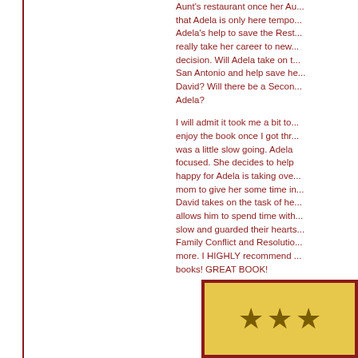Aunt's restaurant once her Au... that Adela is only here tempo... Adela's help to save the Rest... really take her career to new... decision. Will Adela take on t... San Antonio and help save he... David? Will there be a Secon... Adela?
I will admit it took me a bit to enjoy the book once I got thr... was a little slow going. Adela focused. She decides to help happy for Adela is taking ove... mom to give her some time in... David takes on the task of he... allows him to spend time with... slow and guarded their hearts... Family Conflict and Resolutio... more. I HIGHLY recommend books! GREAT BOOK!
[Figure (other): Gold/yellow box with dark red border showing three gold stars, partially cropped]